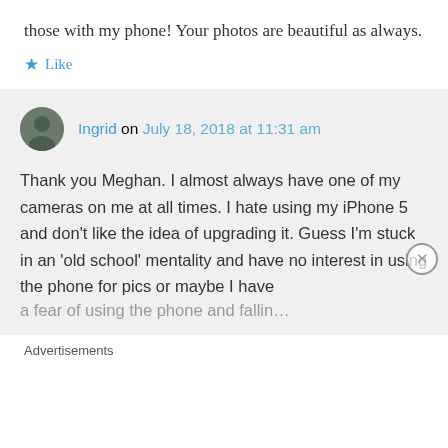those with my phone! Your photos are beautiful as always.
★ Like
Ingrid on July 18, 2018 at 11:31 am
Thank you Meghan. I almost always have one of my cameras on me at all times. I hate using my iPhone 5 and don't like the idea of upgrading it. Guess I'm stuck in an 'old school' mentality and have no interest in using the phone for pics or maybe I have a fear of using the phone and fallin…
Advertisements